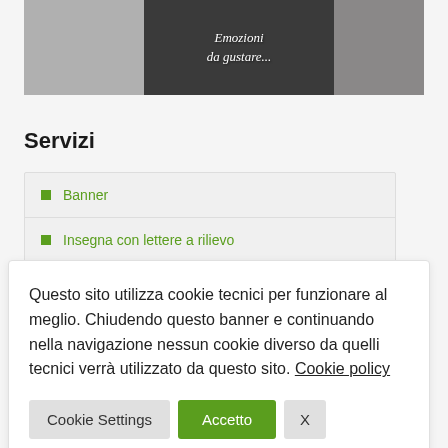[Figure (photo): Top image showing panels: left gray/stone texture, center dark background with italic text 'Emozioni da gustare...', right dark stone/pebble texture]
Servizi
Banner
Insegna con lettere a rilievo
Questo sito utilizza cookie tecnici per funzionare al meglio. Chiudendo questo banner e continuando nella navigazione nessun cookie diverso da quelli tecnici verrà utilizzato da questo sito. Cookie policy
Cookie Settings | Accetto | X